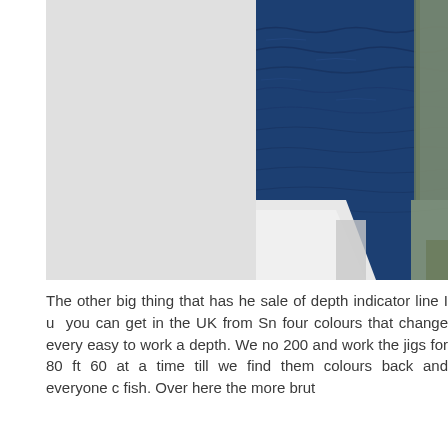[Figure (photo): Outdoor ocean/sea scene photographed from a boat deck. The right portion shows deep blue ocean water with small waves. The left portion shows the white boat deck/hull and some equipment or structure. The image is cropped and partially visible.]
The other big thing that has he sale of depth indicator line I u you can get in the UK from Sn four colours that change every easy to work a depth. We no 200 and work the jigs for 80 ft 60 at a time till we find them colours back and everyone c fish. Over here the more brut